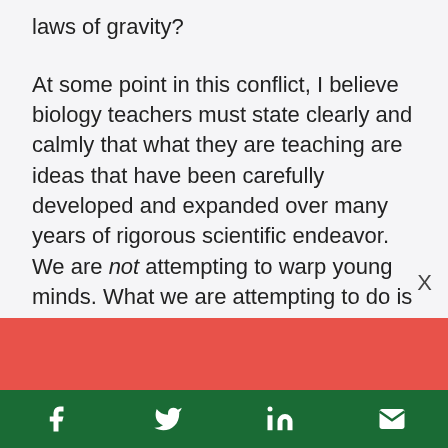laws of gravity?
At some point in this conflict, I believe biology teachers must state clearly and calmly that what they are teaching are ideas that have been carefully developed and expanded over many years of rigorous scientific endeavor. We are not attempting to warp young minds. What we are attempting to do is simply present an elegant
[Figure (other): Red/coral colored banner overlay covering lower portion of article text]
Support climate change
Social share bar with Facebook, Twitter, LinkedIn, and Email icons